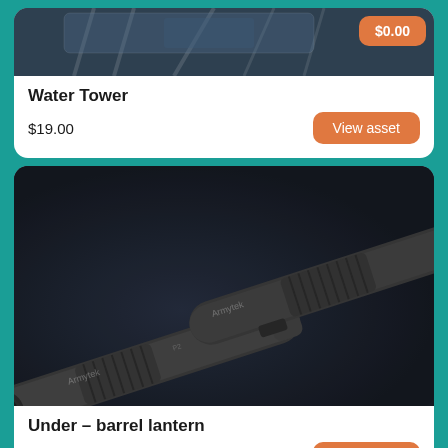[Figure (photo): Top portion of a Water Tower product image (partially visible, cut off at top)]
$0.00
Water Tower
$19.00
View asset
[Figure (photo): Two tactical under-barrel flashlights/lanterns (Armytek brand) on dark navy background, shown side by side at an angle]
Under – barrel lantern
$10.00
View asset